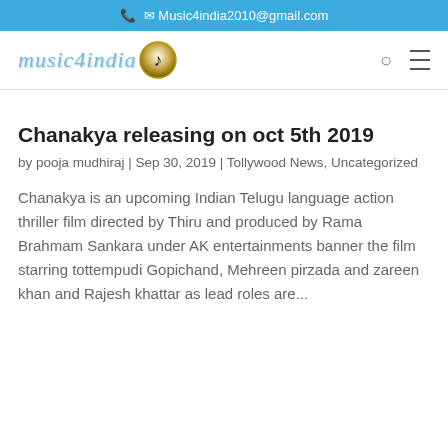📞 ✉ Music4india2010@gmail.com
[Figure (logo): music4india logo with stylized text and musical note icon]
Chanakya releasing on oct 5th 2019
by pooja mudhiraj | Sep 30, 2019 | Tollywood News, Uncategorized
Chanakya is an upcoming Indian Telugu language action thriller film directed by Thiru and produced by Rama Brahmam Sankara under AK entertainments banner the film starring tottempudi Gopichand, Mehreen pirzada and zareen khan and Rajesh khattar as lead roles are...